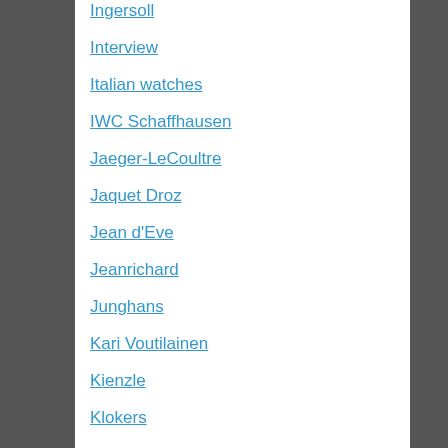Ingersoll
Interview
Italian watches
IWC Schaffhausen
Jaeger-LeCoultre
Jaquet Droz
Jean d'Eve
Jeanrichard
Junghans
Kari Voutilainen
Kienzle
Klokers
Laco
Lang & Heyne
Laurent Ferrier
Lebeau-Courally
Limes